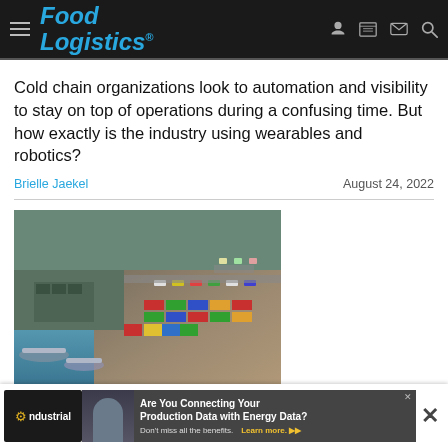Food Logistics
Cold chain organizations look to automation and visibility to stay on top of operations during a confusing time. But how exactly is the industry using wearables and robotics?
Brielle Jaekel — August 24, 2022
[Figure (photo): Aerial view of ocean port with shipping containers, trucks, and cargo vessels]
Ocean Ports & Carriers
Multiple Supply Chain Risks Accelerate Reshoring
[Figure (infographic): Advertisement banner: ndustrial — Are You Connecting Your Production Data with Energy Data? Don't miss all the benefits. Learn more.]